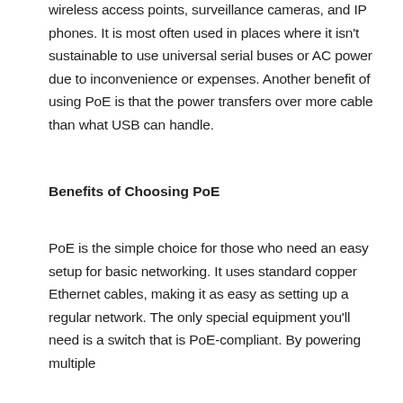wireless access points, surveillance cameras, and IP phones. It is most often used in places where it isn't sustainable to use universal serial buses or AC power due to inconvenience or expenses. Another benefit of using PoE is that the power transfers over more cable than what USB can handle.
Benefits of Choosing PoE
PoE is the simple choice for those who need an easy setup for basic networking. It uses standard copper Ethernet cables, making it as easy as setting up a regular network. The only special equipment you'll need is a switch that is PoE-compliant. By powering multiple